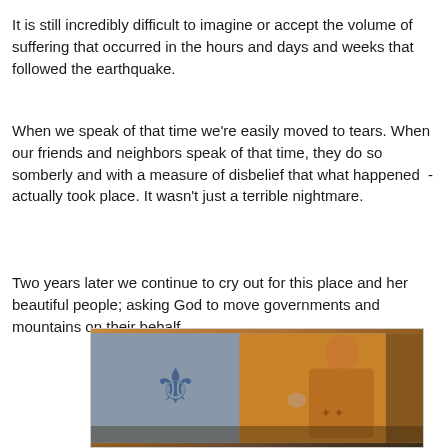It is still incredibly difficult to imagine or accept the volume of suffering that occurred in the hours and days and weeks that followed the earthquake.
When we speak of that time we're easily moved to tears. When our friends and neighbors speak of that time, they do so somberly and with a measure of disbelief that what happened  - actually took place. It wasn't just a terrible nightmare.
Two years later we continue to cry out for this place and her beautiful people; asking God to move governments and mountains on their behalf.
[Figure (photo): A photograph showing a person in orange/golden clothing with a painted or decorated wall visible in the background featuring a blue fleur-de-lis symbol.]